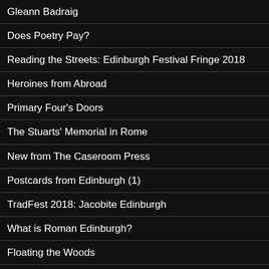Gleann Badraig
Does Poetry Pay?
Reading the Streets: Edinburgh Festival Fringe 2018
Heroines from Abroad
Primary Four's Doors
The Stuarts' Memorial in Rome
New from The Caseroom Press
Postcards from Edinburgh (1)
TradFest 2018: Jacobite Edinburgh
What is Roman Edinburgh?
Floating the Woods
Burns Night
Daughters of Ranelane